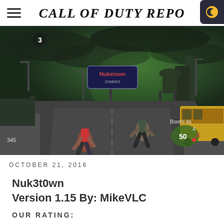CALL OF DUTY REPO
[Figure (screenshot): In-game screenshot from Call of Duty showing the Nuketown map with characters on a road, green sky atmosphere, yellow bus, and HUD elements including score 50 and player name Boorhi da]
OCTOBER 21, 2016
Nuk3t0wn Version 1.15 By: MikeVLC
OUR RATING: